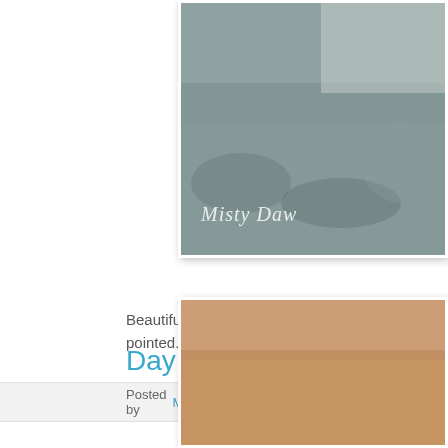[Figure (photo): Partial view of a photo with cursive text overlay reading 'Misty Dawn', appears to be a nature/animal photo with grey/brown tones]
Beautiful day here! Sun is shining. 70 degree weather. Best kind of d... pointed. Occasionally he would get up and turn his back to us as if h...
Posted by Misty   21 comments:  [share icons]
Day 12 - Rose
[Figure (photo): Close-up photo with warm golden/tan tones, partial view]